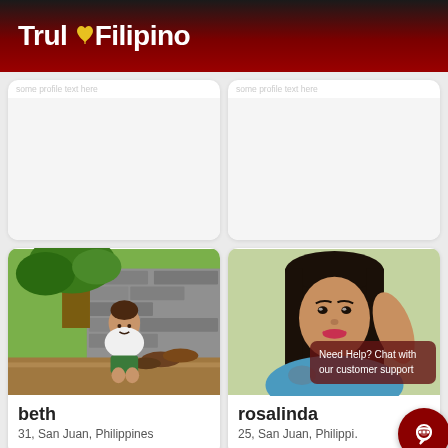TrulyFilipino
[Figure (photo): Profile photo placeholder card 1 (top left), partially visible]
[Figure (photo): Profile photo placeholder card 2 (top right), partially visible]
[Figure (photo): Photo of beth, 31, San Juan, Philippines - woman crouching outdoors near stone wall and tree]
beth
31, San Juan, Philippines
[Figure (photo): Photo of rosalinda, 25, San Juan, Philippines - woman taking selfie indoors with green background]
rosalinda
25, San Juan, Philippines
Need Help? Chat with our customer support